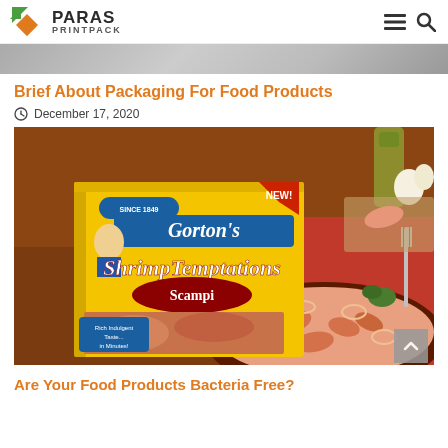PARAS PRINTPACK
[Figure (photo): Top partial image strip - appears to be a food or packaging related photo, partially visible]
Brief About Packaging For Food Products
December 17, 2020
[Figure (photo): Photo of Gorton's Shrimp Temptations Scampi food product packaging (yellow box) next to a bowl of shrimp scampi pasta dish with garlic and oil in background. Box reads 'NEW!', 'SINCE 1849', 'GORTON'S', 'ShrimpTemptations', 'Scampi', 'Rich Indulgent Taste... in Minutes!']
Are Your Food Products Bacteria Free?